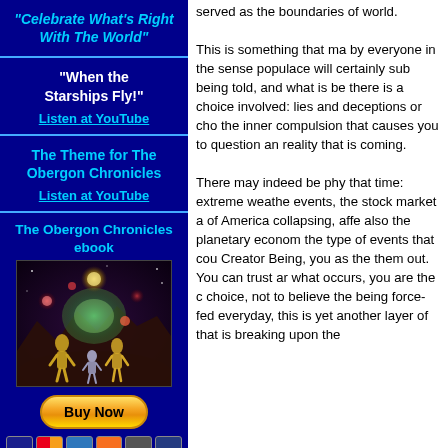"Celebrate What's Right With The World"
"When the Starships Fly!"
Listen at YouTube
The Theme for The Obergon Chronicles
Listen at YouTube
The Obergon Chronicles ebook
[Figure (illustration): Science fiction scene with alien figures and glowing orbs]
Buy Now
served as the boundaries of world. This is something that ma by everyone in the sense populace will certainly sub being told, and what is be there is a choice involved: lies and deceptions or cho the inner compulsion that causes you to question an reality that is coming. There may indeed be phy that time: extreme weathe events, the stock market a of America collapsing, affe also the planetary econom the type of events that cou Creator Being, you as the them out. You can trust ar what occurs, you are the c choice, not to believe the being force-fed everyday, this is yet another layer of that is breaking upon the